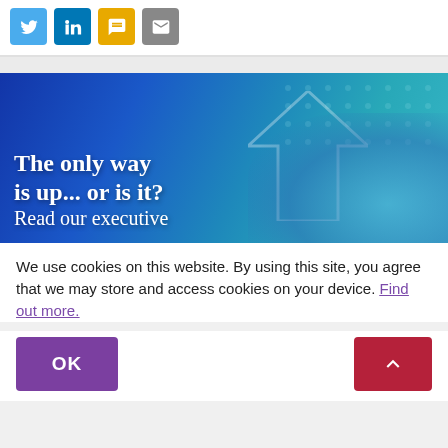[Figure (screenshot): Row of four social share icon buttons: Twitter (blue), LinkedIn (blue), SMS (yellow/amber), Email (gray)]
[Figure (photo): Banner image with blue gradient background showing pills/stethoscope. White bold text reads: 'The only way is up... or is it? Read our executive']
We use cookies on this website. By using this site, you agree that we may store and access cookies on your device. Find out more.
OK
[Figure (other): Red button with up-arrow chevron (scroll to top)]